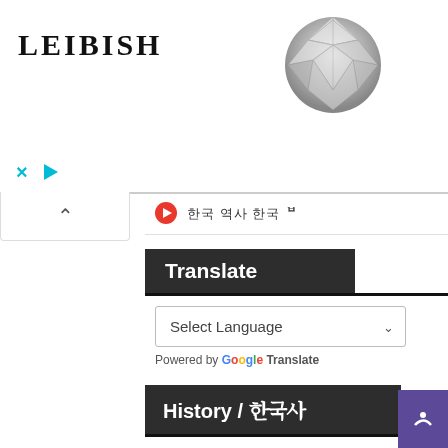[Figure (logo): LEIBISH text logo on left, round brilliant diamond image on right in advertisement banner]
한국 역사 한국 ㅁ
Translate
Select Language
Powered by Google Translate
History / ᄒᆞᆫ국사
1857
Ancient India
Bhakti Movement